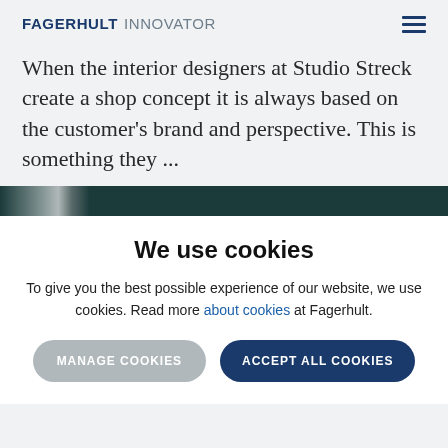FAGERHULT INNOVATOR
When the interior designers at Studio Streck create a shop concept it is always based on the customer's brand and perspective. This is something they ...
[Figure (photo): Dark teal/green image strip, partially visible, appears to be the top of a photograph]
We use cookies
To give you the best possible experience of our website, we use cookies. Read more about cookies at Fagerhult.
MANAGE COOKIES   ACCEPT ALL COOKIES